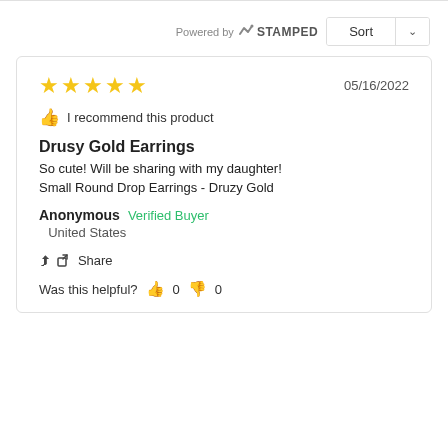Powered by STAMPED
Sort
05/16/2022
I recommend this product
Drusy Gold Earrings
So cute! Will be sharing with my daughter!
Small Round Drop Earrings - Druzy Gold
Anonymous  Verified Buyer
United States
Share
Was this helpful?  0  0